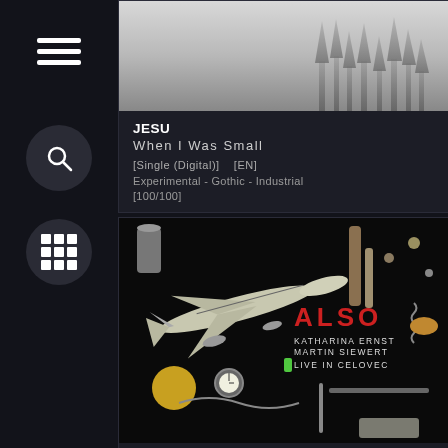[Figure (illustration): Hamburger menu icon (three horizontal white lines) on dark sidebar]
[Figure (illustration): Search icon (magnifying glass) inside a dark circle on sidebar]
[Figure (illustration): Grid/apps icon (3x3 grid of squares) inside a dark circle on sidebar]
[Figure (photo): Misty foggy forest silhouette album cover for JESU - When I Was Small]
JESU
When I Was Small
[Single (Digital)]    [EN]
Experimental - Gothic - Industrial
[100/100]
[Figure (photo): Album cover for ALSO - Live in Celovec showing a flat lay of various small objects and tools on black background with red ALSO text and white artist/album text overlay]
ALSO
Live in Celovec
[Vinyl / Digital]    [EN]
Abstract - Experimental - Industrial